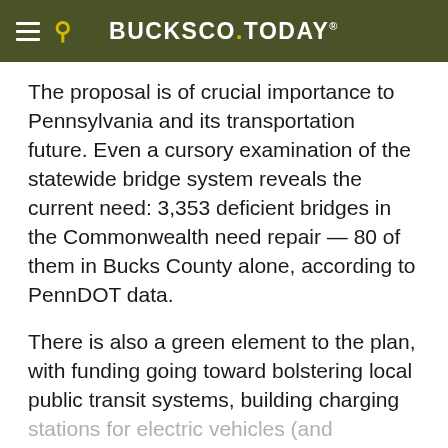BUCKSCO.TODAY
The proposal is of crucial importance to Pennsylvania and its transportation future. Even a cursory examination of the statewide bridge system reveals the current need: 3,353 deficient bridges in the Commonwealth need repair — 80 of them in Bucks County alone, according to PennDOT data.
There is also a green element to the plan, with funding going toward bolstering local public transit systems, building charging stations for electric vehicles (and incentivizing their use) and replacing diesel-